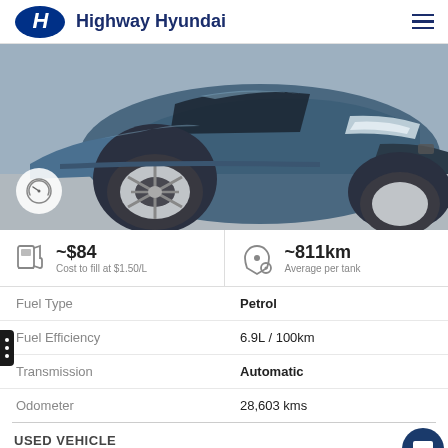Highway Hyundai
[Figure (photo): Front quarter view of a blue Mazda CX-5 SUV parked in a showroom or garage. A speedometer icon badge is overlaid in the bottom-left corner of the image.]
~$84 Cost to fill at $1.50/L
~811km Average per tank
| Fuel Type | Petrol |
| Fuel Efficiency | 6.9L / 100km |
| Transmission | Automatic |
| Odometer | 28,603 kms |
USED VEHICLE